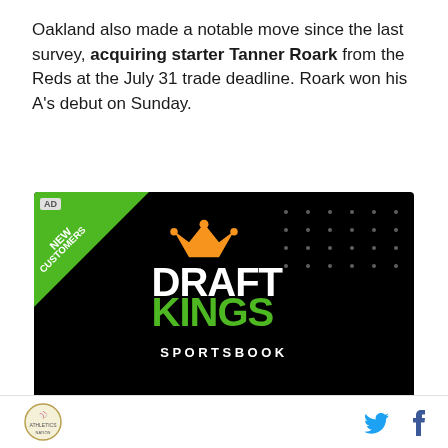Oakland also made a notable move since the last survey, acquiring starter Tanner Roark from the Reds at the July 31 trade deadline. Roark won his A's debut on Sunday.
[Figure (other): DraftKings Sportsbook advertisement banner with black background, green diagonal banner reading NEW CUSTOMERS, orange and white crown logo, and white/green DRAFT KINGS SPORTSBOOK text. Decorative dots on the right side.]
[Figure (logo): Sports publication circular logo at bottom left and Twitter/Facebook social media icons at bottom right.]